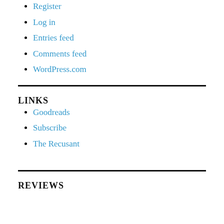Register
Log in
Entries feed
Comments feed
WordPress.com
LINKS
Goodreads
Subscribe
The Recusant
REVIEWS